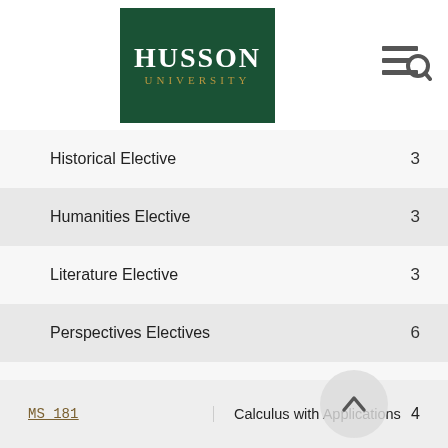Husson University
Historical Elective  3
Humanities Elective  3
Literature Elective  3
Perspectives Electives  6
Philosophical Elective  3
Psychological/Sociological Elective  3
REQUIRED SCIENCE COURSES
| Course | Name | Credits |
| --- | --- | --- |
| MS 181 | Calculus with Applications | 4 |